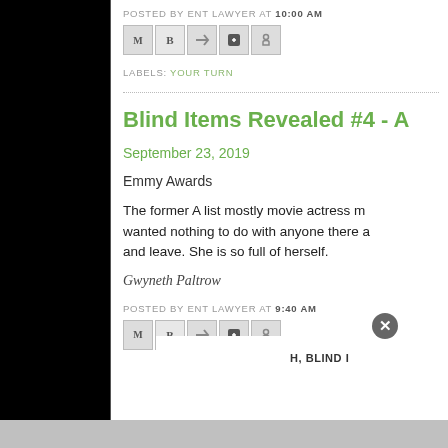POSTED BY ENT LAWYER AT 10:00 AM
[Figure (other): Social share icons: email, blogger, twitter, facebook, pinterest]
LABELS: YOUR TURN
Blind Items Revealed #4 - A
September 23, 2019
Emmy Awards
The former A list mostly movie actress m wanted nothing to do with anyone there a and leave. She is so full of herself.
Gwyneth Paltrow
POSTED BY ENT LAWYER AT 9:40 AM
[Figure (other): Social share icons: email, blogger, twitter, facebook, pinterest]
H, BLIND I